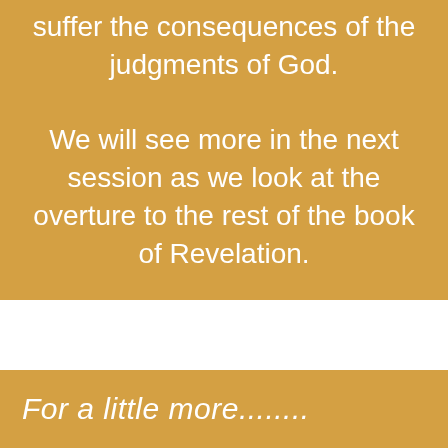suffer the consequences of the judgments of God.

We will see more in the next session as we look at the overture to the rest of the book of Revelation.
For a little more........